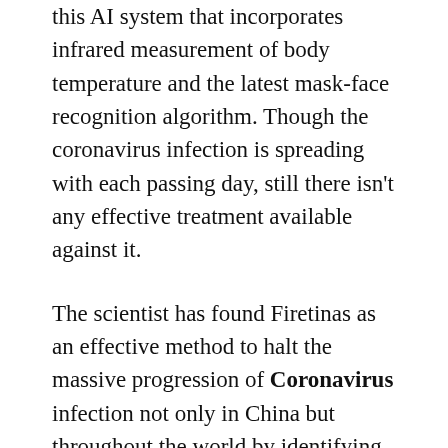this AI system that incorporates infrared measurement of body temperature and the latest mask-face recognition algorithm. Though the coronavirus infection is spreading with each passing day, still there isn't any effective treatment available against it.
The scientist has found Firetinas as an effective method to halt the massive progression of Coronavirus infection not only in China but throughout the world by identifying individuals with early-stage high body temperature.
This newly developed and high-performance AI system is an integrated circuit supplied with NPU analyzing almost 3 trillion times every single second tracking nearly 100 individuals in